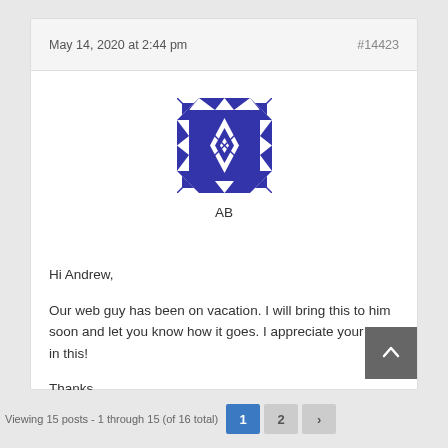May 14, 2020 at 2:44 pm
#14423
[Figure (illustration): Blue and white geometric/mosaic pattern avatar image for user AB]
AB
Hi Andrew,

Our web guy has been on vacation. I will bring this to him soon and let you know how it goes. I appreciate your help in this!

Thanks
Viewing 15 posts - 1 through 15 (of 16 total)